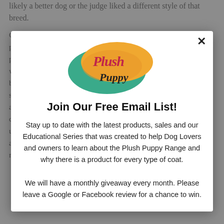likely a better dog or the judge liked a different style of that breed.
Coats are not grown accidentally. Weeks and months of preparation are required to attain great coats! Correct texture is paramount. No matter what we can impart even just one bit of wisdom to ensure your dog's coat is constantly regenerating. The best way is to bath, and blow dry every week, even when not showing. In fact more importantly when you're not showing. No amount of brushing will grow coat or maintain texture in a correctly cut double coated breed. There are many advantages of undercoat shedding every week in your own home via bathing and blow drying rather than a big dump of undercoat shed and non-shed coat.
[Figure (logo): Plush Puppy logo — colorful oval with teal and orange/yellow background with script text 'Plush Puppy']
Join Our Free Email List!
Stay up to date with the latest products, sales and our Educational Series that was created to help Dog Lovers and owners to learn about the Plush Puppy Range and why there is a product for every type of coat. We will have a monthly giveaway every month. Please leave a Google or Facebook review for a chance to win.